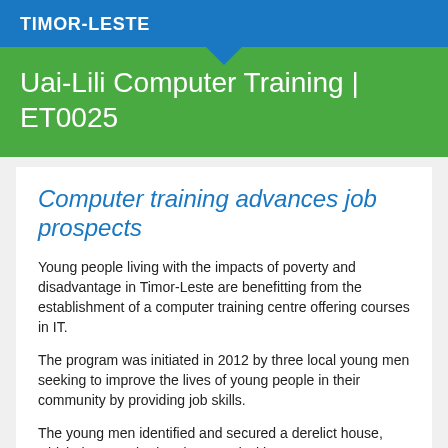TIMOR-LESTE
Uai-Lili Computer Training | ET0025
Computer training advances job prospects
Young people living with the impacts of poverty and disadvantage in Timor-Leste are benefitting from the establishment of a computer training centre offering courses in IT.
The program was initiated in 2012 by three local young men seeking to improve the lives of young people in their community by providing job skills.
The young men identified and secured a derelict house, which they repaired and restored with